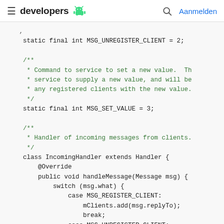developers  [android logo]  [search]  Aanmelden
static final int MSG_UNREGISTER_CLIENT = 2;

/**
 * Command to service to set a new value.  Th
 * service to supply a new value, and will be
 * any registered clients with the new value.
 */
static final int MSG_SET_VALUE = 3;

/**
 * Handler of incoming messages from clients.
 */
class IncomingHandler extends Handler {
    @Override
    public void handleMessage(Message msg) {
        switch (msg.what) {
            case MSG_REGISTER_CLIENT:
                mClients.add(msg.replyTo);
                break;
            case MSG_UNREGISTER_CLIENT: